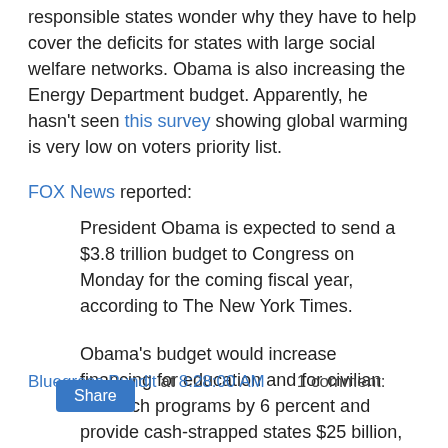responsible states wonder why they have to help cover the deficits for states with large social welfare networks. Obama is also increasing the Energy Department budget. Apparently, he hasn't seen this survey showing global warming is very low on voters priority list.
FOX News reported:
President Obama is expected to send a $3.8 trillion budget to Congress on Monday for the coming fiscal year, according to The New York Times.
Obama's budget would increase financing for education and for civilian research programs by 6 percent and provide cash-strapped states $25 billion, the newspaper reported.
Bluegrass Pundit at 8:28:00 AM    1 comment:
Share